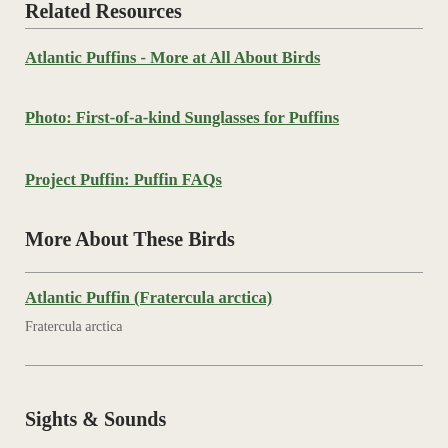Related Resources
Atlantic Puffins - More at All About Birds
Photo: First-of-a-kind Sunglasses for Puffins
Project Puffin: Puffin FAQs
More About These Birds
Atlantic Puffin (Fratercula arctica)
Fratercula arctica
Sights & Sounds